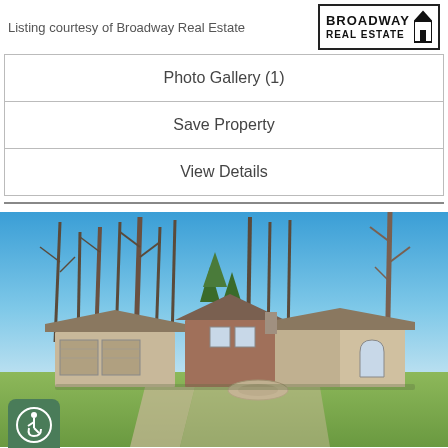Listing courtesy of Broadway Real Estate
| Photo Gallery (1) |
| Save Property |
| View Details |
[Figure (photo): Exterior photo of a large ranch-style home with stone and wood facade, triple-car garage, arched window feature, surrounded by bare trees and green lawn under a blue sky. An accessibility icon badge is visible in the bottom-left corner.]